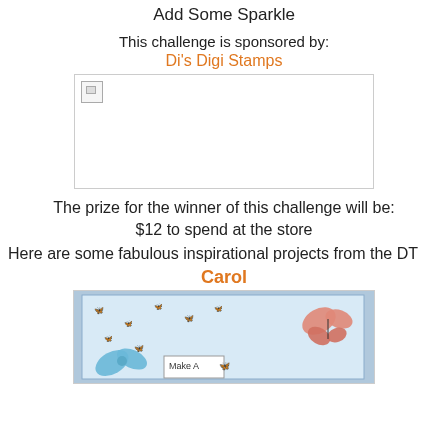Add Some Sparkle
This challenge is sponsored by:
Di's Digi Stamps
[Figure (photo): Broken/placeholder image representing Di's Digi Stamps sponsor logo]
The prize for the winner of this challenge will be:
$12 to spend at the store
Here are some fabulous inspirational projects from the DT
Carol
[Figure (photo): Photo of a handmade card by Carol featuring butterfly pattern paper, a blue bow, and a 'Make A' text label, with a pink butterfly embellishment]